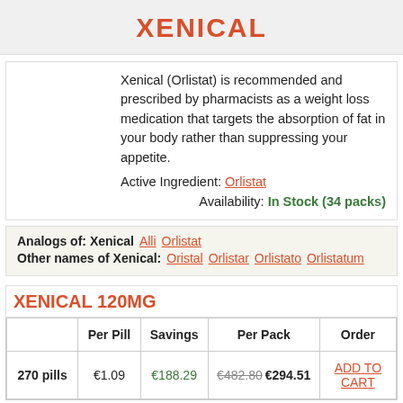XENICAL
Xenical (Orlistat) is recommended and prescribed by pharmacists as a weight loss medication that targets the absorption of fat in your body rather than suppressing your appetite.
Active Ingredient: Orlistat
Availability: In Stock (34 packs)
Analogs of: Xenical   Alli  Orlistat
Other names of Xenical:   Oristal  Orlistar  Orlistato  Orlistatum
XENICAL 120MG
|  | Per Pill | Savings | Per Pack | Order |
| --- | --- | --- | --- | --- |
| 270 pills | €1.09 | €188.29 | €482.80 €294.51 | ADD TO CART |